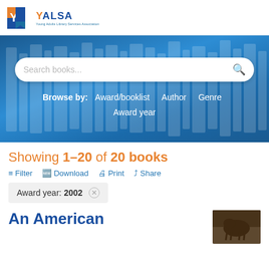[Figure (logo): YALSA logo with orange Y and blue ALSA text, tagline underneath]
[Figure (screenshot): Blue banner background with search box and Browse by navigation links]
Showing 1–20 of 20 books
Filter  Download  Print  Share
Award year: 2002 ×
An American